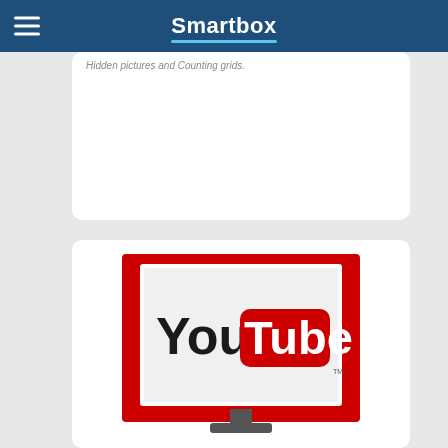Smartbox
Hidden pictures and Counting grids.
[Figure (logo): YouTube logo displayed on a television screen illustration with red background]